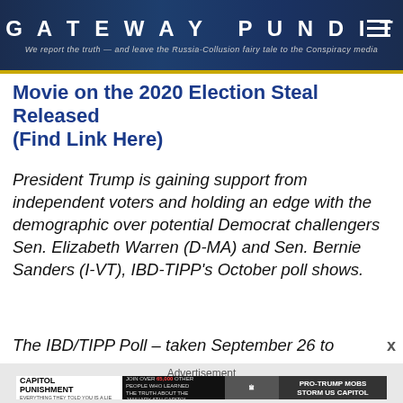GATEWAY PUNDIT
We report the truth — and leave the Russia-Collusion fairy tale to the Conspiracy media
Movie on the 2020 Election Steal Released (Find Link Here)
President Trump is gaining support from independent voters and holding an edge with the demographic over potential Democrat challengers Sen. Elizabeth Warren (D-MA) and Sen. Bernie Sanders (I-VT), IBD-TIPP's October poll shows.
The IBD/TIPP Poll – taken September 26 to
[Figure (screenshot): Advertisement banner for 'Capitol Punishment' documentary featuring text 'JOIN OVER 65,000 OTHER PEOPLE WHO LEARNED THE TRUTH ABOUT THE JANUARY 6TH CAPITOL', a red 'WATCH NOW' button, an image of the US Capitol building, and a news chyron reading 'PRO-TRUMP MOBS STORM US CAPITOL' with a crowd scene and police text overlay.]